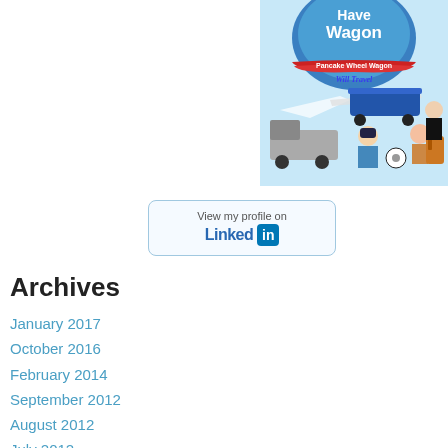[Figure (photo): Pancake Wheel Wagon advertisement image showing a blue wagon, airplane, truck, pilot, woman with backpack, and text 'Have Wagon, Pancake Wheel Wagon, Will Travel']
[Figure (logo): LinkedIn profile button with text 'View my profile on LinkedIn']
Archives
January 2017
October 2016
February 2014
September 2012
August 2012
July 2012
May 2012